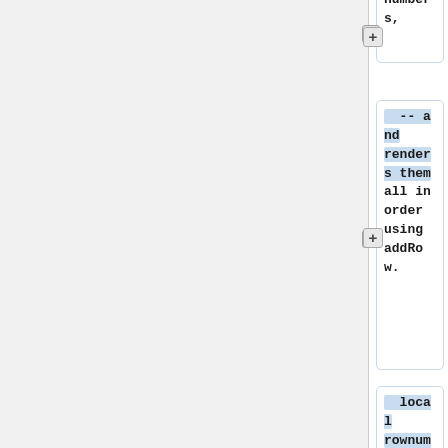[Figure (screenshot): Code editor diff view showing Lua code blocks with blue highlighted syntax. Block 1 (partial): 'argument numbers,' Block 2: '-- and renders them all in order using addRow.' Block 3: 'local rownums = union(getArgNums(header), getArgNums(data))' Block 4: 'table.sort(rownums)' Block 5 (partial): 'for k, num in']